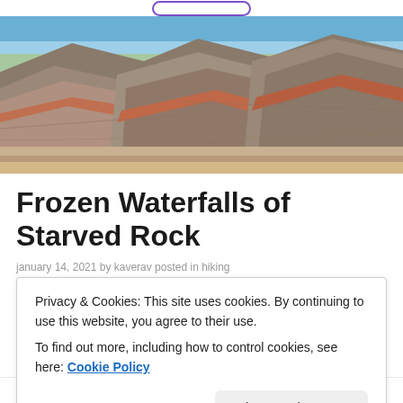[Figure (photo): Wide panoramic photo of Badlands-style layered rock formations with rust, grey, and tan banding, green plains in the background, and a blue sky at the horizon.]
Frozen Waterfalls of Starved Rock
january 14, 2021 by kaverav  posted in hiking
Privacy & Cookies: This site uses cookies. By continuing to use this website, you agree to their use.
To find out more, including how to control cookies, see here: Cookie Policy
Close and accept